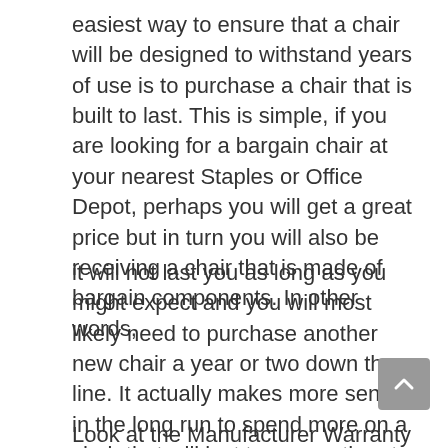easiest way to ensure that a chair will be designed to withstand years of use is to purchase a chair that is built to last. This is simple, if you are looking for a bargain chair at your nearest Staples or Office Depot, perhaps you will get a great price but in turn you will also be receiving a chair that is made of bargain components. In other words,
it will not last you as long as you might expect and you will most likely need to purchase another new chair a year or two down the line. It actually makes more sense in the long run to spend more on a chair that will last ten years then to have to continuously purchase new chairs every year, and is less of a hassle.
Look at the Manufacturer Warranty – Almost